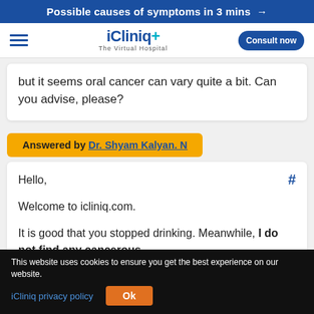Possible causes of symptoms in 3 mins →
[Figure (logo): iCliniq+ The Virtual Hospital logo with hamburger menu and Consult now button]
but it seems oral cancer can vary quite a bit. Can you advise, please?
Answered by Dr. Shyam Kalyan. N
Hello,

Welcome to icliniq.com.

It is good that you stopped drinking. Meanwhile, I do not find any cancerous
This website uses cookies to ensure you get the best experience on our website.
iCliniq privacy policy  Ok